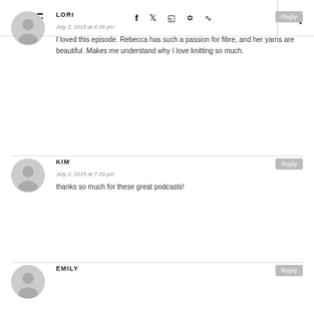Navigation bar with hamburger menu, social icons (f, twitter, instagram, pinterest, rss), and search icon
LORI
July 2, 2015 at 6:36 pm
I loved this episode. Rebecca has such a passion for fibre, and her yarns are beautiful. Makes me understand why I love knitting so much.
KIM
July 2, 2015 at 7:20 pm
thanks so much for these great podcasts!
EMILY
Reply